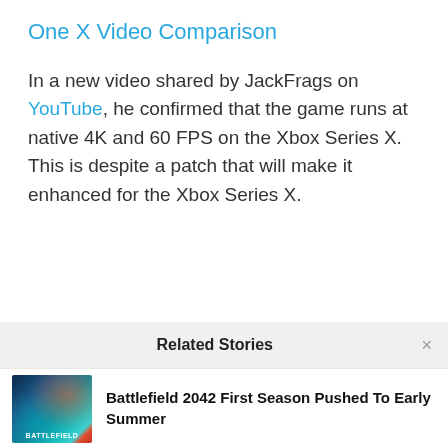One X Video Comparison
In a new video shared by JackFrags on YouTube, he confirmed that the game runs at native 4K and 60 FPS on the Xbox Series X. This is despite a patch that will make it enhanced for the Xbox Series X.
Related Stories
Battlefield 2042 First Season Pushed To Early Summer